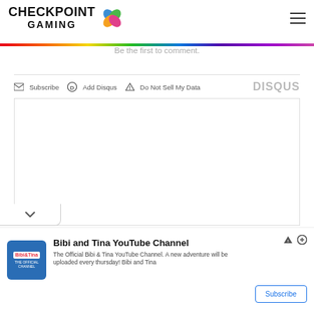Checkpoint Gaming
Be the first to comment.
Subscribe  Add Disqus  Do Not Sell My Data  DISQUS
[Figure (other): Empty white content box area]
[Figure (other): Advertisement for Bibi and Tina YouTube Channel with logo, text and Subscribe button]